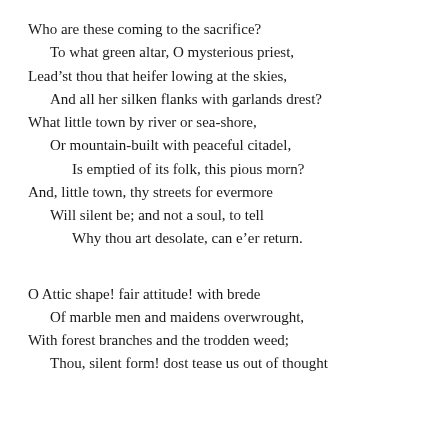Who are these coming to the sacrifice?
  To what green altar, O mysterious priest,
Lead'st thou that heifer lowing at the skies,
  And all her silken flanks with garlands drest?
What little town by river or sea-shore,
  Or mountain-built with peaceful citadel,
    Is emptied of its folk, this pious morn?
And, little town, thy streets for evermore
  Will silent be; and not a soul, to tell
    Why thou art desolate, can e'er return.

O Attic shape! fair attitude! with brede
  Of marble men and maidens overwrought,
With forest branches and the trodden weed;
  Thou, silent form! dost tease us out of thought